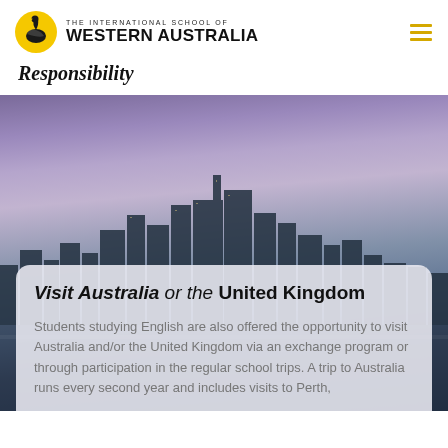THE INTERNATIONAL SCHOOL OF WESTERN AUSTRALIA
Responsibility
[Figure (photo): City skyline of Perth at dusk/night with purple and blue tones, lights reflected, used as background image behind a card overlay]
Visit Australia or the United Kingdom
Students studying English are also offered the opportunity to visit Australia and/or the United Kingdom via an exchange program or through participation in the regular school trips. A trip to Australia runs every second year and includes visits to Perth,